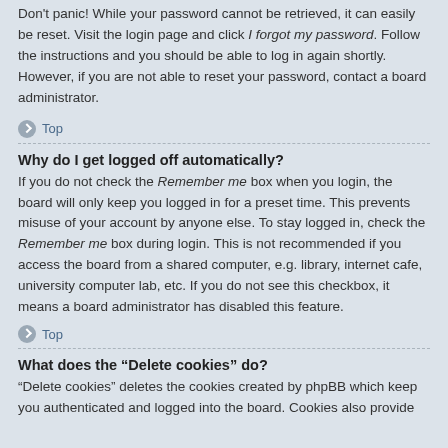Don't panic! While your password cannot be retrieved, it can easily be reset. Visit the login page and click I forgot my password. Follow the instructions and you should be able to log in again shortly.
However, if you are not able to reset your password, contact a board administrator.
Top
Why do I get logged off automatically?
If you do not check the Remember me box when you login, the board will only keep you logged in for a preset time. This prevents misuse of your account by anyone else. To stay logged in, check the Remember me box during login. This is not recommended if you access the board from a shared computer, e.g. library, internet cafe, university computer lab, etc. If you do not see this checkbox, it means a board administrator has disabled this feature.
Top
What does the “Delete cookies” do?
“Delete cookies” deletes the cookies created by phpBB which keep you authenticated and logged into the board. Cookies also provide